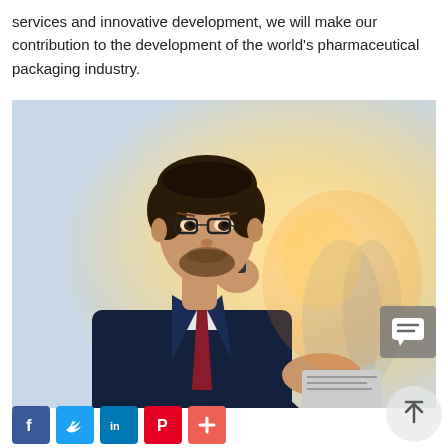services and innovative development, we will make our contribution to the development of the world's pharmaceutical packaging industry.
[Figure (photo): A businessman in a dark suit and red tie, wearing glasses, talking on a mobile phone while holding a document or newspaper. Bright bokeh background with warm light.]